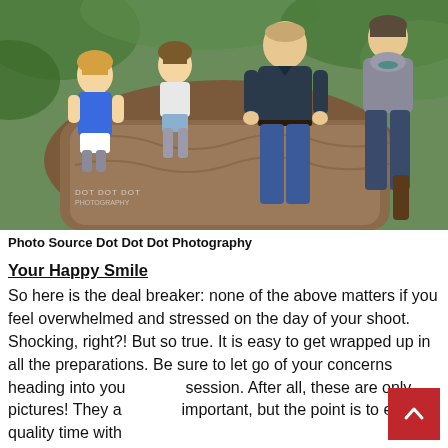[Figure (photo): Family photo of four people (two young girls, a man, and a woman) sitting on a large tree trunk outdoors with green foliage in the background. The girls are wearing a blue dress and casual outfit with boots; the man wears a dark polo shirt and jeans; the woman wears a gray top and jeans with boots. Watermark reads DOT DOT DOT PHOTOGRAPHY.]
Photo Source Dot Dot Dot Photography
Your Happy Smile
So here is the deal breaker: none of the above matters if you feel overwhelmed and stressed on the day of your shoot. Shocking, right?! But so true. It is easy to get wrapped up in all the preparations. Be sure to let go of your concerns heading into your session. After all, these are only pictures! They a important, but the point is to enjoy quality time with